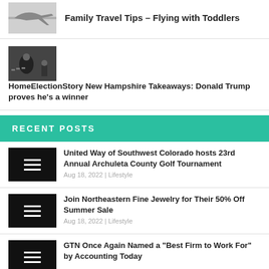[Figure (photo): Airplane in flight thumbnail]
Family Travel Tips – Flying with Toddlers
[Figure (photo): Election story thumbnail with person at podium with microphones]
HomeElectionStory New Hampshire Takeaways: Donald Trump proves he’s a winner
RECENT POSTS
[Figure (other): Black placeholder thumbnail with menu lines]
United Way of Southwest Colorado hosts 23rd Annual Archuleta County Golf Tournament
Aug 18, 2022 | Lifestyle
[Figure (other): Black placeholder thumbnail with menu lines]
Join Northeastern Fine Jewelry for Their 50% Off Summer Sale
Aug 18, 2022 | Lifestyle
[Figure (other): Black placeholder thumbnail with menu lines]
GTN Once Again Named a “Best Firm to Work For” by Accounting Today